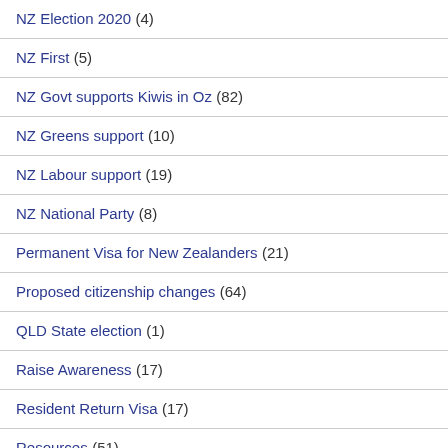NZ Election 2020 (4)
NZ First (5)
NZ Govt supports Kiwis in Oz (82)
NZ Greens support (10)
NZ Labour support (19)
NZ National Party (8)
Permanent Visa for New Zealanders (21)
Proposed citizenship changes (64)
QLD State election (1)
Raise Awareness (17)
Resident Return Visa (17)
Resources (51)